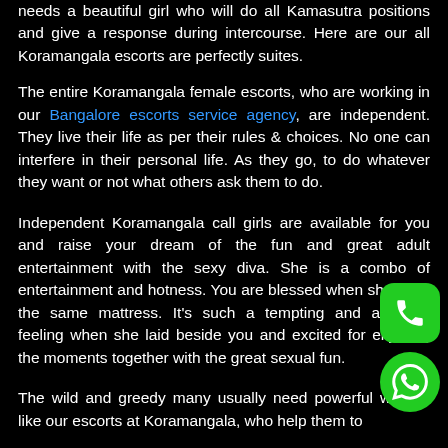needs a beautiful girl who will do all Kamasutra positions and give a response during intercourse. Here are our all Koramangala escorts are perfectly suites.
The entire Koramangala female escorts, who are working in our Bangalore escorts service agency, are independent. They live their life as per their rules & choices. No one can interfere in their personal life. As they go, to do whatever they want or not what others ask them to do.
Independent Koramangala call girls are available for you and raise your dream of the fun and great adult entertainment with the sexy diva. She is a combo of entertainment and hotness. You are blessed when she is on the same mattress. It's such a tempting and amazing feeling when she laid beside you and excited for enjoying the moments together with the great sexual fun.
The wild and greedy many usually need powerful women like our escorts at Koramangala, who help them to